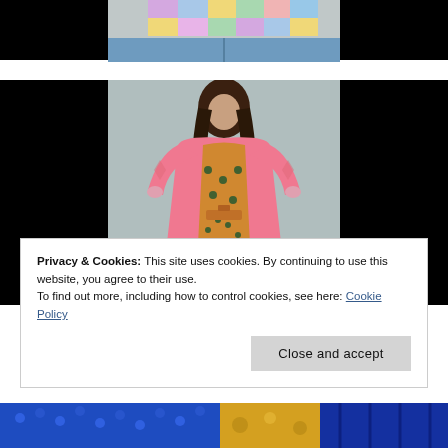[Figure (photo): Top portion of a fashion photo showing a colorful patchwork jacket with jeans, flanked by black bars on both sides]
[Figure (photo): A woman with long dark hair wearing a pink and orange floral patterned long kimono-style coat with a belt, standing against a grey background, flanked by black bars on both sides]
Privacy & Cookies: This site uses cookies. By continuing to use this website, you agree to their use.
To find out more, including how to control cookies, see here: Cookie Policy
[Figure (photo): Partial bottom strip showing blue sequined fashion items]